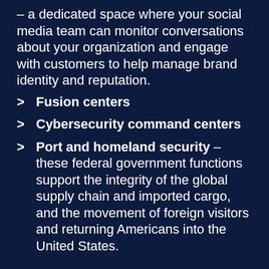– a dedicated space where your social media team can monitor conversations about your organization and engage with customers to help manage brand identity and reputation.
Fusion centers
Cybersecurity command centers
Port and homeland security – these federal government functions support the integrity of the global supply chain and imported cargo, and the movement of foreign visitors and returning Americans into the United States.